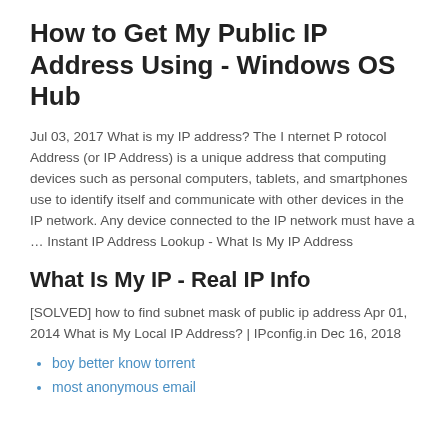How to Get My Public IP Address Using - Windows OS Hub
Jul 03, 2017 What is my IP address? The I nternet P rotocol Address (or IP Address) is a unique address that computing devices such as personal computers, tablets, and smartphones use to identify itself and communicate with other devices in the IP network. Any device connected to the IP network must have a … Instant IP Address Lookup - What Is My IP Address
What Is My IP - Real IP Info
[SOLVED] how to find subnet mask of public ip address Apr 01, 2014 What is My Local IP Address? | IPconfig.in Dec 16, 2018
boy better know torrent
most anonymous email